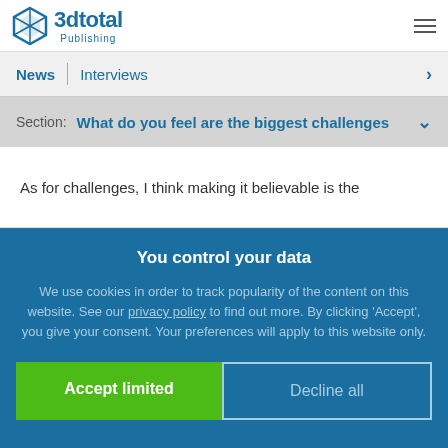3dtotal Publishing
News | Interviews
Section: What do you feel are the biggest challenges
As for challenges, I think making it believable is the
You control your data
We use cookies in order to track popularity of the content on this website. See our privacy policy to find out more. By clicking 'Accept', you give your consent. Your preferences will apply to this website only.
Accept limited
Decline all